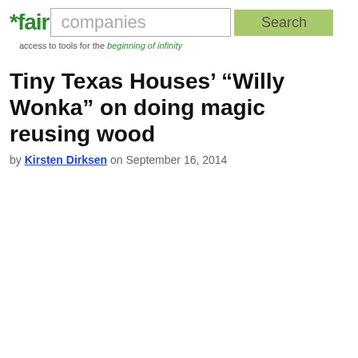*fair companies | Search | access to tools for the beginning of infinity
Tiny Texas Houses’ “Willy Wonka” on doing magic reusing wood
by Kirsten Dirksen on September 16, 2014